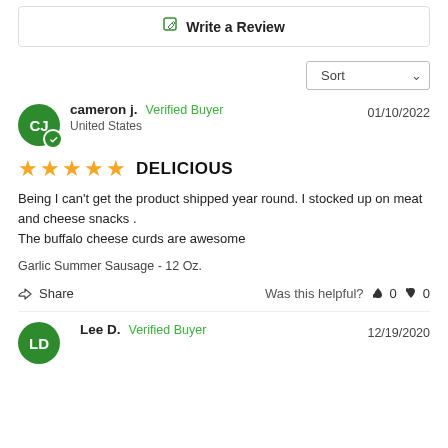✎ Write a Review
Sort
cameron j.  Verified Buyer   01/10/2022
United States
★★★★★  DELICIOUS
Being I can't get the product shipped year round. I stocked up on meat and cheese snacks .
The buffalo cheese curds are awesome
Garlic Summer Sausage - 12 Oz.
Share   Was this helpful?  👍 0  👎 0
Lee D.  Verified Buyer   12/19/2020